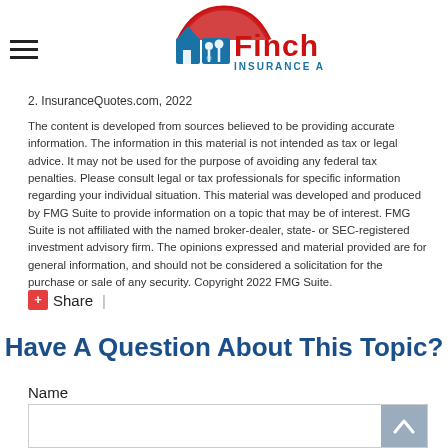[Figure (logo): Finch Insurance Agency logo with red umbrella and house/family icons, red and blue text]
2. InsuranceQuotes.com, 2022
The content is developed from sources believed to be providing accurate information. The information in this material is not intended as tax or legal advice. It may not be used for the purpose of avoiding any federal tax penalties. Please consult legal or tax professionals for specific information regarding your individual situation. This material was developed and produced by FMG Suite to provide information on a topic that may be of interest. FMG Suite is not affiliated with the named broker-dealer, state- or SEC-registered investment advisory firm. The opinions expressed and material provided are for general information, and should not be considered a solicitation for the purchase or sale of any security. Copyright 2022 FMG Suite.
Share |
Have A Question About This Topic?
Name